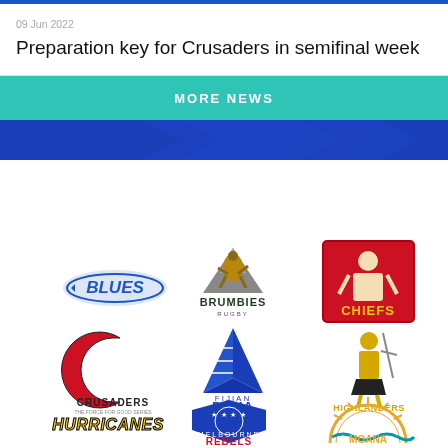09 Jun 2022
Preparation key for Crusaders in semifinal week
MORE NEWS
[Figure (illustration): Blue chevron/arrow decorative bar]
[Figure (logo): Blues rugby team logo]
[Figure (logo): Brumbies rugby team logo]
[Figure (logo): Chiefs rugby team logo]
[Figure (logo): Crusaders rugby team logo]
[Figure (logo): Fijian Drua rugby team logo]
[Figure (logo): Highlanders rugby team logo]
[Figure (logo): Hurricanes rugby team logo]
[Figure (logo): Melbourne Rebels rugby team logo]
[Figure (logo): Moana Pasifika rugby team logo (partial)]